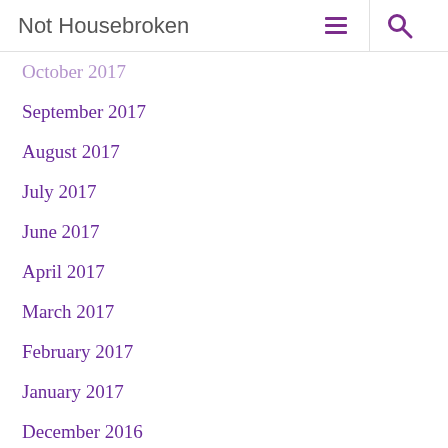Not Housebroken
October 2017
September 2017
August 2017
July 2017
June 2017
April 2017
March 2017
February 2017
January 2017
December 2016
November 2016
October 2016